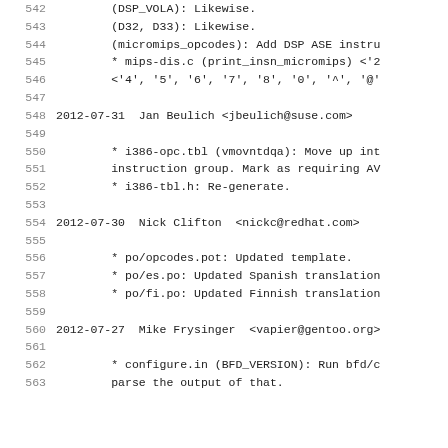542     (DSP_VOLA): Likewise.
543     (D32, D33): Likewise.
544     (micromips_opcodes): Add DSP ASE instru
545     * mips-dis.c (print_insn_micromips) <'2
546     <'4', '5', '6', '7', '8', '0', '^', '@'
547
548 2012-07-31  Jan Beulich <jbeulich@suse.com>
549
550     * i386-opc.tbl (vmovntdqa): Move up int
551     instruction group. Mark as requiring AV
552     * i386-tbl.h: Re-generate.
553
554 2012-07-30  Nick Clifton  <nickc@redhat.com>
555
556     * po/opcodes.pot: Updated template.
557     * po/es.po: Updated Spanish translation
558     * po/fi.po: Updated Finnish translation
559
560 2012-07-27  Mike Frysinger  <vapier@gentoo.org>
561
562     * configure.in (BFD_VERSION): Run bfd/c
563     parse the output of that.